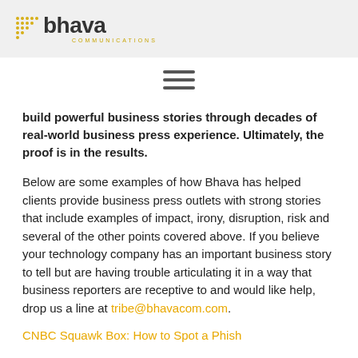bhava COMMUNICATIONS
[Figure (other): Hamburger menu icon (three horizontal lines)]
build powerful business stories through decades of real-world business press experience. Ultimately, the proof is in the results.
Below are some examples of how Bhava has helped clients provide business press outlets with strong stories that include examples of impact, irony, disruption, risk and several of the other points covered above. If you believe your technology company has an important business story to tell but are having trouble articulating it in a way that business reporters are receptive to and would like help, drop us a line at tribe@bhavacom.com.
CNBC Squawk Box: How to Spot a Phish